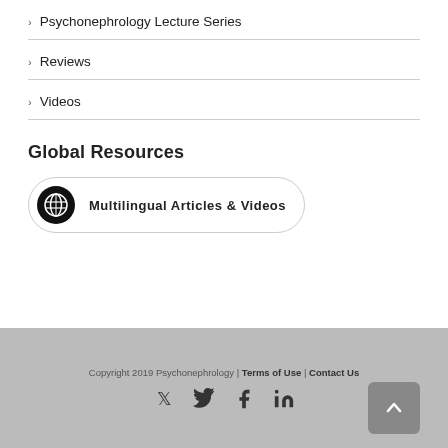Psychonephrology Lecture Series
Reviews
Videos
Global Resources
[Figure (illustration): Globe icon button with label 'Multilingual Articles & Videos']
Copyright 2019 Psychonephrology | Terms of Use | Contact Us